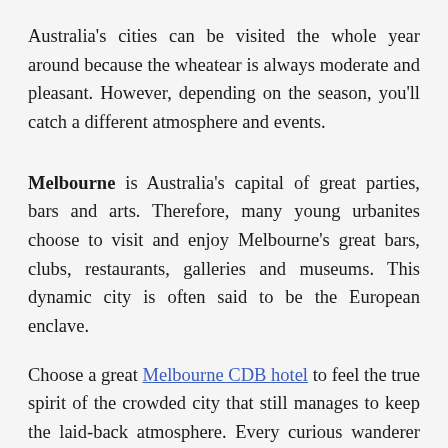Australia's cities can be visited the whole year around because the wheatear is always moderate and pleasant. However, depending on the season, you'll catch a different atmosphere and events.
Melbourne is Australia's capital of great parties, bars and arts. Therefore, many young urbanites choose to visit and enjoy Melbourne's great bars, clubs, restaurants, galleries and museums. This dynamic city is often said to be the European enclave.
Choose a great Melbourne CDB hotel to feel the true spirit of the crowded city that still manages to keep the laid-back atmosphere. Every curious wanderer will be rewarded with the small charms hidden in the narrow lanes of the city. Moreover, they hide restaurants and bars with the best food